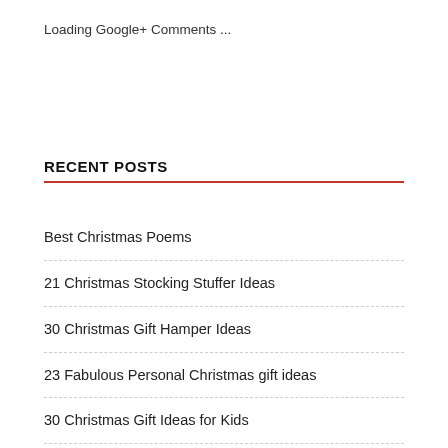Loading Google+ Comments ...
RECENT POSTS
Best Christmas Poems
21 Christmas Stocking Stuffer Ideas
30 Christmas Gift Hamper Ideas
23 Fabulous Personal Christmas gift ideas
30 Christmas Gift Ideas for Kids